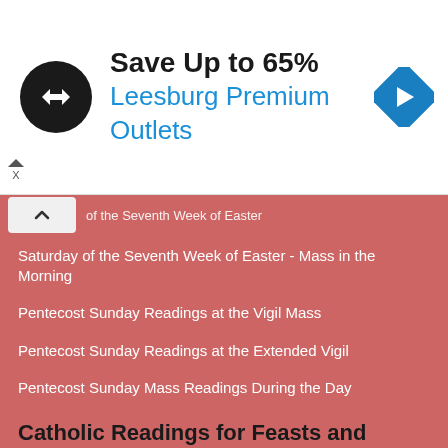[Figure (other): Advertisement banner: black circle logo with double arrow symbol, text 'Save Up to 65%' in bold black, 'Leesburg Premium Outlets' in blue, blue diamond navigation arrow icon on right]
of the Seventh Week of Easter
Saturday of the Seventh Week of Easter - Mass in the Morning
Pentecost Sunday Readings at the Vigil Mass
Pentecost Sunday Readings at the Extended Vigil
Pentecost Sunday Mass Readings During the Day
Catholic Readings for Feasts and Solemities
January 1: Solemnity of the Blessed Virgin Mary, the Mother of God
The Epiphany of the Lord - Solemnity